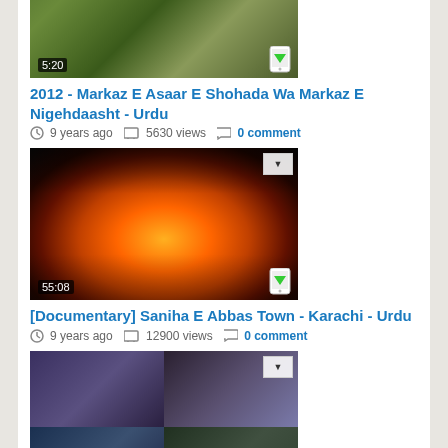[Figure (screenshot): Video thumbnail partially visible at top, duration 5:20, with mobile app icon overlay]
2012 - Markaz E Asaar E Shohada Wa Markaz E Nigehdaasht - Urdu
9 years ago  5630 views  0 comment
[Figure (screenshot): Video thumbnail showing fire/flames scene, duration 55:08, with dropdown and mobile app icon overlay]
[Documentary] Saniha E Abbas Town - Karachi - Urdu
9 years ago  12900 views  0 comment
[Figure (screenshot): Video thumbnail showing 4-grid collage of protest scenes, duration 44:31, with dropdown and mobile app icon overlay]
Saniha E Alamdar Road, Quetta - Documentary - Urdu
9 years ago  16738 views  1 comment
[Figure (screenshot): Partial video thumbnail visible at bottom of page]